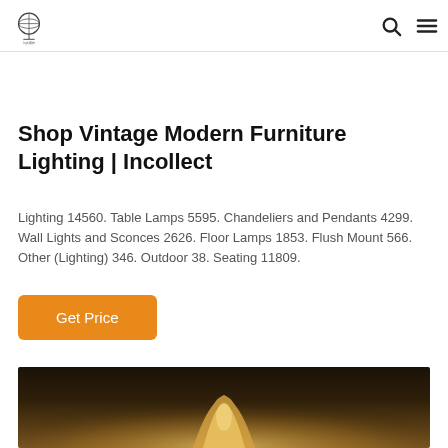Incollect logo and navigation icons
Shop Vintage Modern Furniture Lighting | Incollect
Lighting 14560. Table Lamps 5595. Chandeliers and Pendants 4299. Wall Lights and Sconces 2626. Floor Lamps 1853. Flush Mount 566. Other (Lighting) 346. Outdoor 38. Seating 11809.
Get Price
[Figure (photo): Photo of a lamp with warm glowing light against a dark background]